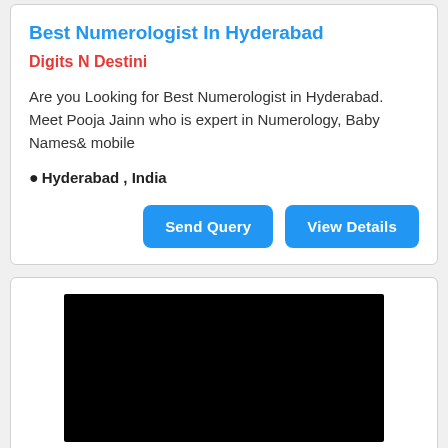Best Numerologist In Hyderabad
Digits N Destini
Are you Looking for Best Numerologist in Hyderabad. Meet Pooja Jainn who is expert in Numerology, Baby Names& mobile
Hyderabad , India
[Figure (screenshot): Black rectangle representing a video or image placeholder inside a white card]